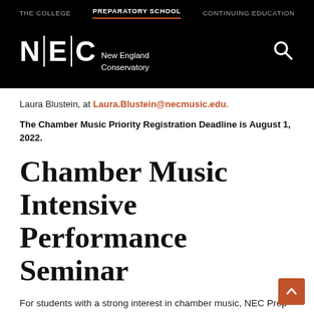THE COLLEGE | PREPARATORY SCHOOL | CONTINUING EDUCATION
[Figure (logo): NEC - New England Conservatory logo with N|E|C letters in white on black background, with search icon]
Laura Blustein, at Laura.Blustein@necmusic.edu.
The Chamber Music Priority Registration Deadline is August 1, 2022.
Chamber Music Intensive Performance Seminar
For students with a strong interest in chamber music, NEC Prep is excited to offer the Chamber